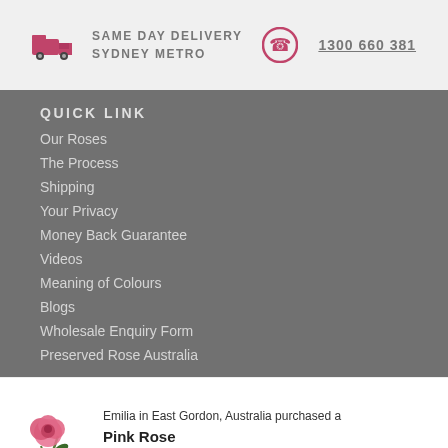SAME DAY DELIVERY SYDNEY METRO   1300 660 381
QUICK LINK
Our Roses
The Process
Shipping
Your Privacy
Money Back Guarantee
Videos
Meaning of Colours
Blogs
Wholesale Enquiry Form
Preserved Rose Australia
Emilia in East Gordon, Australia purchased a Pink Rose without Premium Display Case